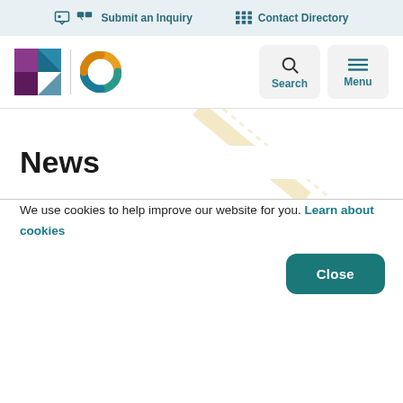Submit an Inquiry   Contact Directory
[Figure (logo): Organization logo with purple square geometric mark and teal/gold circular ring mark, plus Search and Menu navigation buttons]
[Figure (illustration): Hero section with diagonal decorative lines in cream/tan color]
News
We use cookies to help improve our website for you. Learn about cookies
Close